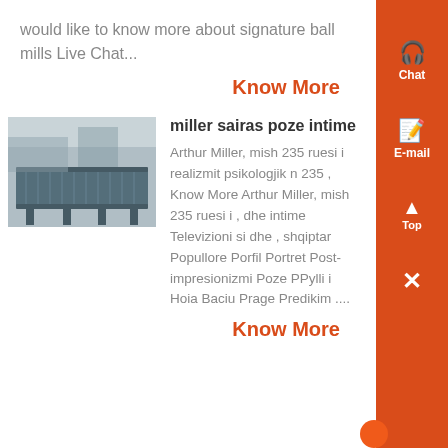would like to know more about signature ball mills Live Chat...
Know More
[Figure (photo): Industrial metal conveyor or rack structure outdoors]
miller sairas poze intime
Arthur Miller, mish 235 ruesi i realizmit psikologjik n 235 , Know More Arthur Miller, mish 235 ruesi i , dhe intime Televizioni si dhe , shqiptar Popullore Porfil Portret Post-impresionizmi Poze PPylli i Hoia Baciu Prage Predikim ....
Know More